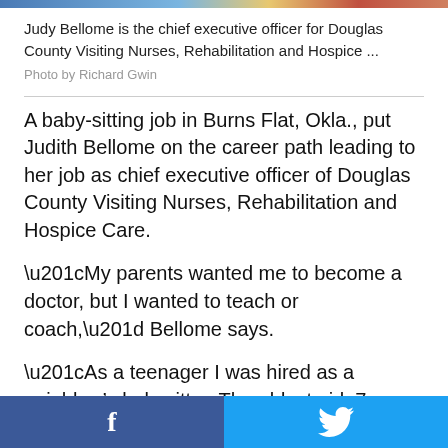[Figure (photo): Cropped image strip at top of page showing partial photo]
Judy Bellome is the chief executive officer for Douglas County Visiting Nurses, Rehabilitation and Hospice ...
Photo by Richard Gwin
A baby-sitting job in Burns Flat, Okla., put Judith Bellome on the career path leading to her job as chief executive officer of Douglas County Visiting Nurses, Rehabilitation and Hospice Care.
“My parents wanted me to become a doctor, but I wanted to teach or coach,” Bellome says.
“As a teenager I was hired as a neighbor’s babysitter. The oldest girl, 7-year old Jamie, had cerebral palsy and weighed 46 pounds. This was my first encounter with disability. I learned to do some minor medical things like working with feeding tubes. I loved providing care for Jamie and decided to become a pediatric nurse. Mom and dad
[Figure (infographic): Social sharing bar with Facebook (blue) and Twitter (light blue) buttons]